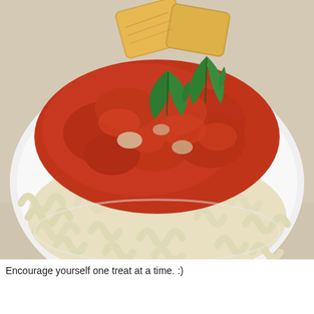[Figure (photo): A white plate filled with rotini/fusilli pasta topped with chunky red tomato sauce with pieces of chicken or seafood, garnished with fresh green basil leaves. Two pieces of garlic bread are visible at the top of the plate. The plate sits on a light beige/cream surface.]
Encourage yourself one treat at a time. :)